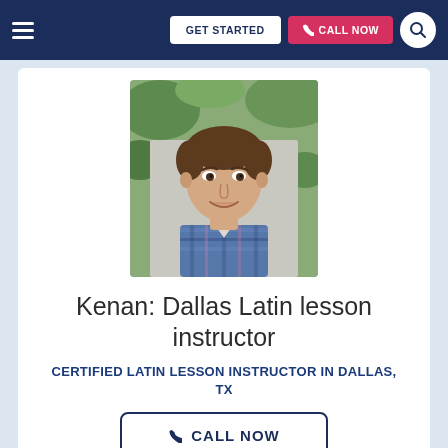GET STARTED | CALL NOW
[Figure (photo): Headshot of Kenan, a young man smiling, wearing a blue plaid shirt, with green foliage in the background]
Kenan: Dallas Latin lesson instructor
CERTIFIED LATIN LESSON INSTRUCTOR IN DALLAS, TX
CALL NOW